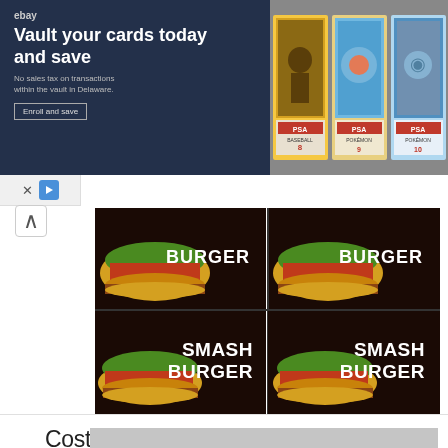[Figure (screenshot): eBay advertisement banner: 'Vault your cards today and save' with trading card images on the right side]
[Figure (photo): Four Smashburger gift cards arranged in 2x2 grid showing burgers with 'BURGER' and 'SMASH BURGER' text on dark background]
Costco: Buy 4x $25 Smashburger Gift Cards For $69.99
[Figure (other): Gray rectangle at bottom of page, partially visible]